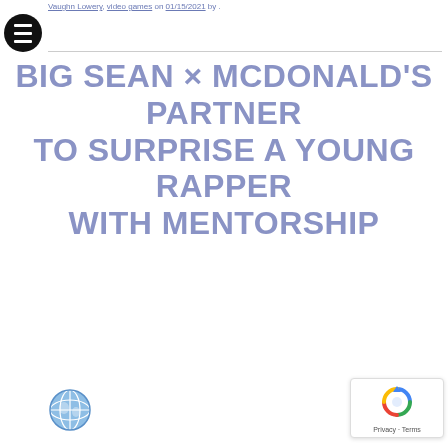Vaughn Lowery, video games on 01/15/2021 by .
BIG SEAN × MCDONALD'S PARTNER TO SURPRISE A YOUNG RAPPER WITH MENTORSHIP
[Figure (logo): Globe icon, blue and white]
[Figure (logo): reCAPTCHA badge with Privacy - Terms text]